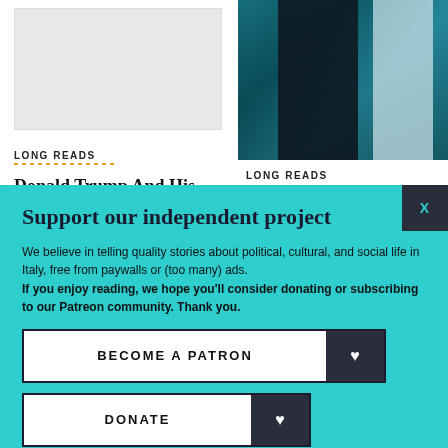[Figure (screenshot): Gray placeholder image for left article]
LONG READS
Donald Trump And His
[Figure (photo): Photo of people at a table with blue background]
LONG READS
Support our independent project
We believe in telling quality stories about political, cultural, and social life in Italy, free from paywalls or (too many) ads. If you enjoy reading, we hope you'll consider donating or subscribing to our Patreon community. Thank you.
BECOME A PATRON
DONATE
Follow us: Facebook Instagram Twitter